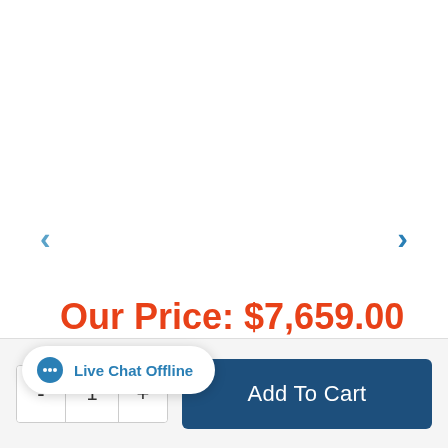[Figure (other): Left carousel navigation arrow (<) in light blue]
[Figure (other): Right carousel navigation arrow (>) in blue]
Our Price: $7,659.00
Live Chat Offline
- 1 + Add To Cart